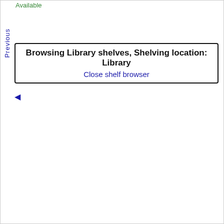Available
Previous
Browsing Library shelves, Shelving location: Library
Close shelf browser
◄